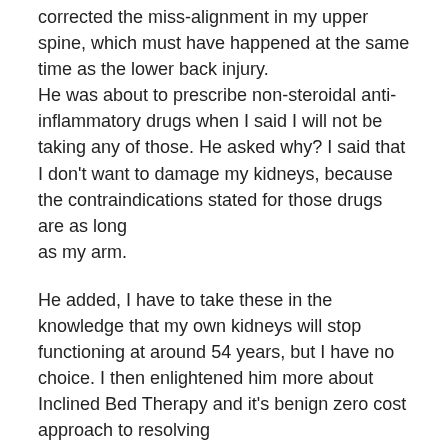corrected the miss-alignment in my upper spine, which must have happened at the same time as the lower back injury. He was about to prescribe non-steroidal anti-inflammatory drugs when I said I will not be taking any of those. He asked why? I said that I don't want to damage my kidneys, because the contraindications stated for those drugs are as long as my arm.
He added, I have to take these in the knowledge that my own kidneys will stop functioning at around 54 years, but I have no choice. I then enlightened him more about Inclined Bed Therapy and it's benign zero cost approach to resolving scar tissue issues and how it has helped a lot of people with ms and spinal cord injuries. It was a good feeling being able to offer this amazing old-school doctor a little help in return for what he did for me.
Since I learned this technique, I have helped people in